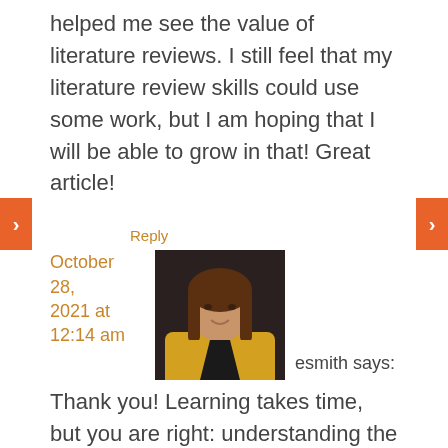helped me see the value of literature reviews. I still feel that my literature review skills could use some work, but I am hoping that I will be able to grow in that! Great article!
Reply
October 28, 2021 at 12:14 am
[Figure (photo): Profile photo of esmith, a woman with long brown hair wearing a yellow jacket]
esmith says:
Thank you! Learning takes time, but you are right: understanding the point is the first step! Glad I can be a part of your own